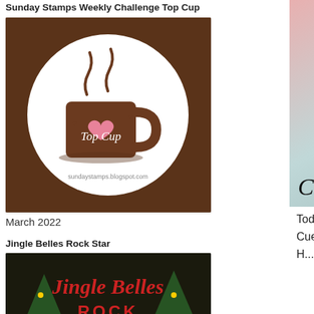Sunday Stamps Weekly Challenge Top Cup
[Figure (logo): Brown circular badge with white circle center, coffee cup with heart, text 'Top Cup', and sundaystamps.blogspot.com]
March 2022
Jingle Belles Rock Star
[Figure (logo): Jingle Belles Rock badge with red text on dark background with Christmas decorations]
February 2022
52 {Christmas} Card Throwdown Winner
[Figure (logo): Winner at 52 card throwdown badge with red and white candy cane border]
[Figure (illustration): Superhero woman in red cape flying over city buildings, with text Craftingjunk at bottom]
Today's card was created fo... birthday. I still can't believe I h... sad reality. Cue heavy sigh... Superman. My son is an adv... who is now a CWII Black H... when he was stationed with th...